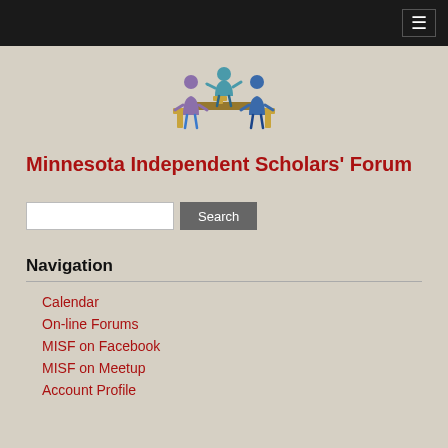☰
[Figure (illustration): Logo showing three people sitting around a table in conversation, drawn in a cartoon style with teal, purple, and blue colors]
Minnesota Independent Scholars' Forum
Search box and Search button
Navigation
Calendar
On-line Forums
MISF on Facebook
MISF on Meetup
Account Profile